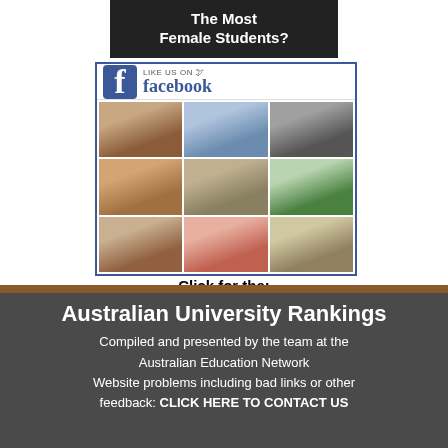[Figure (illustration): Dark banner with bold white text reading 'The Most Female Students?']
[Figure (illustration): Facebook Like Us On box with grid of 9 profile photos of people]
Click for the:
Top 10 Highest Paid Vice-Chancellors @ Australian Universities
Australian University Rankings
Compiled and presented by the team at the Australian Education Network
Website problems including bad links or other feedback: CLICK HERE TO CONTACT US